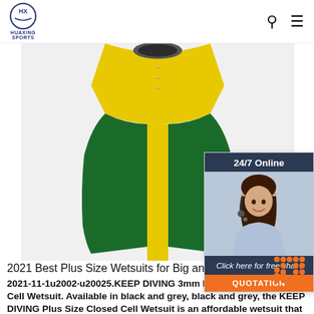HUAXING SPORTS
[Figure (photo): Close-up photo of a yellow and green wetsuit showing zipper and neoprene material detail]
[Figure (infographic): 24/7 Online chat widget with agent photo, 'Click here for free chat!' text, and QUOTATION button]
[Figure (other): Orange TOP badge in bottom right corner]
2021 Best Plus Size Wetsuits for Big and Tall Men ...
2021-11-1u2002·u20025.KEEP DIVING 3mm Mens Plus Size Closed Cell Wetsuit. Available in black and grey, black and grey, the KEEP DIVING Plus Size Closed Cell Wetsuit is an affordable wetsuit that fits big and tall men and has impeccable